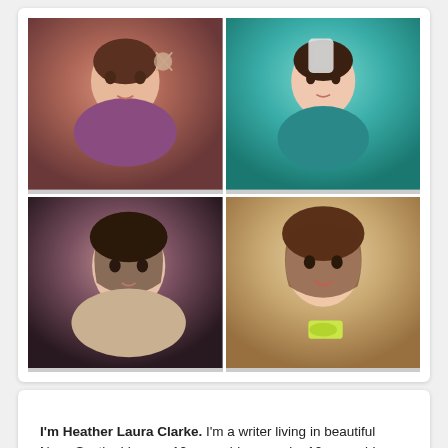[Figure (photo): A 2x2 grid of four selfie photos of a young woman (Heather Laura Clarke) in various settings and poses: top-left shows her making a peace sign in a purple top; top-right shows her holding a bottle in a teal top; bottom-left is a moody close-up portrait; bottom-right shows her smiling widely holding yellow sunglasses.]
I'm Heather Laura Clarke. I'm a writer living in beautiful Nova Scotia. I have a 12-year-old son and a 10-year-old daughter. I